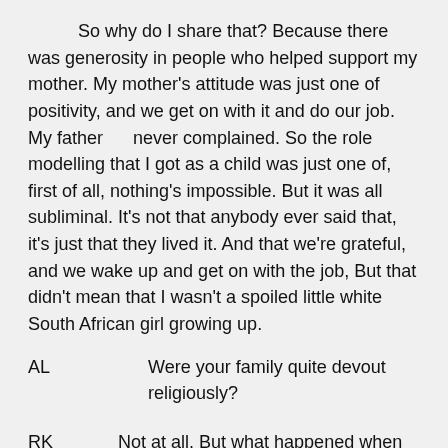So why do I share that? Because there was generosity in people who helped support my mother. My mother's attitude was just one of positivity, and we get on with it and do our job. My father      never complained. So the role modelling that I got as a child was just one of, first of all, nothing's impossible. But it was all subliminal. It's not that anybody ever said that, it's just that they lived it. And that we're grateful, and we wake up and get on with the job, But that didn't mean that I wasn't a spoiled little white South African girl growing up.
AL                 Were your family quite devout religiously?
RK            Not at all. But what happened when my father had the accident was that my 12-year-old sister made a pact with God that if he survived, she would become a devout religious Jew. So my parents, who weren't at all, had to run a kosher